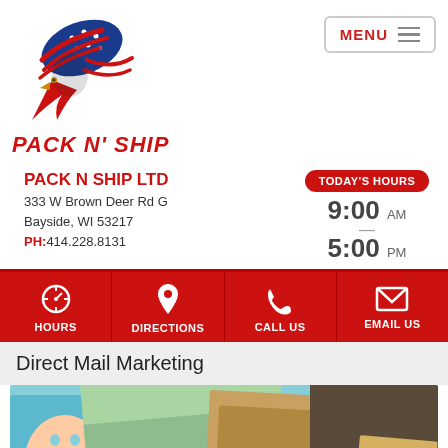[Figure (logo): Pack N' Ship eagle logo with American flag motif]
PACK N' SHIP
[Figure (other): MENU button with hamburger icon]
PACK N SHIP LTD
333 W Brown Deer Rd G
Bayside, WI 53217
PH:414.228.8131
TODAY'S HOURS
9:00 AM
—
5:00 PM
[Figure (infographic): Action buttons: HOURS, DIRECTIONS, CALL US, EMAIL US on red background with icons]
Direct Mail Marketing
[Figure (photo): Stack of direct mail marketing pieces, postcards and flyers, with text 'er prices', 'AND YOU']